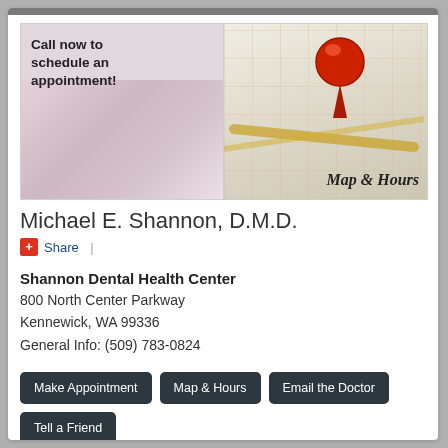[Figure (photo): Left half: phone call image with text 'Call now to schedule an appointment!'. Right half: map with red push pin and text 'Map & Hours'.]
Michael E. Shannon, D.M.D.
Share |
Shannon Dental Health Center
800 North Center Parkway
Kennewick, WA 99336
General Info: (509) 783-0824
Make Appointment  Map & Hours  Email the Doctor  Tell a Friend